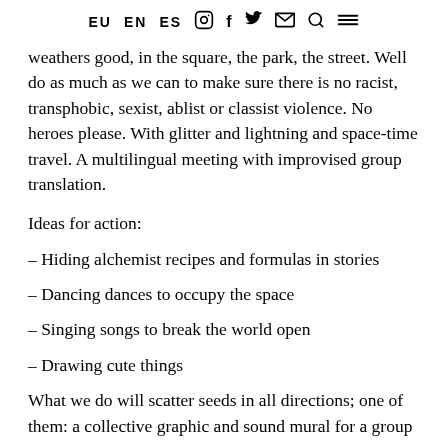EU  EN  ES  [instagram]  f  [twitter]  [email]  [search]  [menu]
weathers good, in the square, the park, the street. Well do as much as we can to make sure there is no racist, transphobic, sexist, ablist or classist violence. No heroes please. With glitter and lightning and space-time travel. A multilingual meeting with improvised group translation.
Ideas for action:
– Hiding alchemist recipes and formulas in stories
– Dancing dances to occupy the space
– Singing songs to break the world open
– Drawing cute things
What we do will scatter seeds in all directions; one of them: a collective graphic and sound mural for a group